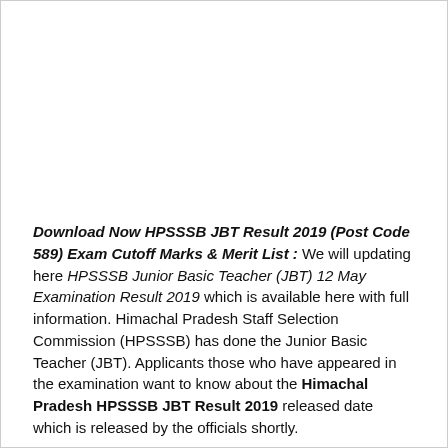Download Now HPSSSB JBT Result 2019 (Post Code 589) Exam Cutoff Marks & Merit List : We will updating here HPSSSB Junior Basic Teacher (JBT) 12 May Examination Result 2019 which is available here with full information. Himachal Pradesh Staff Selection Commission (HPSSSB) has done the Junior Basic Teacher (JBT). Applicants those who have appeared in the examination want to know about the Himachal Pradesh HPSSSB JBT Result 2019 released date which is released by the officials shortly.
HPSSSB JBT Result 2019